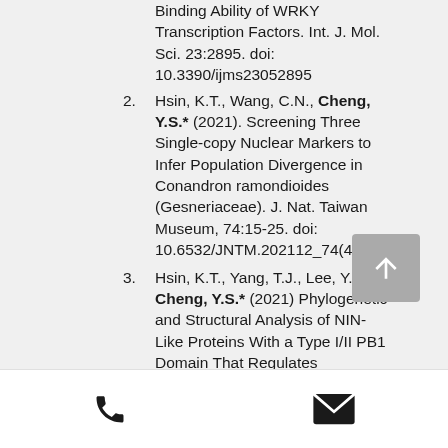Binding Ability of WRKY Transcription Factors. Int. J. Mol. Sci. 23:2895. doi: 10.3390/ijms23052895
2. Hsin, K.T., Wang, C.N., Cheng, Y.S.* (2021). Screening Three Single-copy Nuclear Markers to Infer Population Divergence in Conandron ramondioides (Gesneriaceae). J. Nat. Taiwan Museum, 74:15-25. doi: 10.6532/JNTM.202112_74(4).02
3. Hsin, K.T., Yang, T.J., Lee, Y.H. and Cheng, Y.S.* (2021) Phylogenetic and Structural Analysis of NIN-Like Proteins With a Type I/II PB1 Domain That Regulates Oligomerization for Nitrate Response. Front. Plant Sci. 12:672035. doi: 10.3389/fpls.2021.672035
phone | email